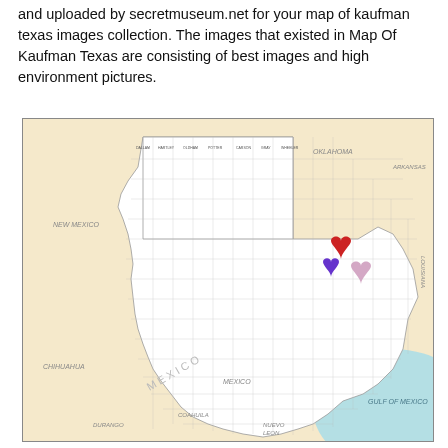and uploaded by secretmuseum.net for your map of kaufman texas images collection. The images that existed in Map Of Kaufman Texas are consisting of best images and high environment pictures.
[Figure (map): A map of Texas showing county boundaries and neighboring states and countries (New Mexico, Oklahoma, Arkansas, Louisiana, Mexico regions Chihuahua, Coahuila, Nuevo Leon, Durango) and Gulf of Mexico. Three heart-shaped markers are placed in the Dallas-Fort Worth area (northeast Texas): a red heart, a purple heart, and a pink/lavender heart, indicating the location of Kaufman, Texas.]